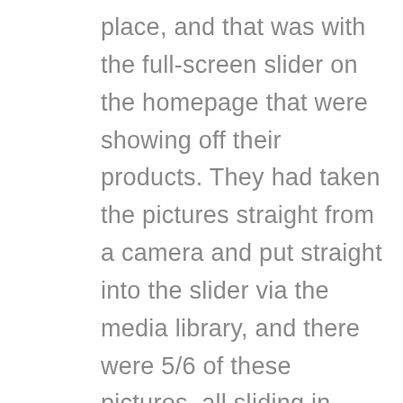place, and that was with the full-screen slider on the homepage that were showing off their products. They had taken the pictures straight from a camera and put straight into the slider via the media library, and there were 5/6 of these pictures, all sliding in tandem, with each being well over 1.5mb in size. The screenshot below is a scan on GTMetrix of when they first arrived